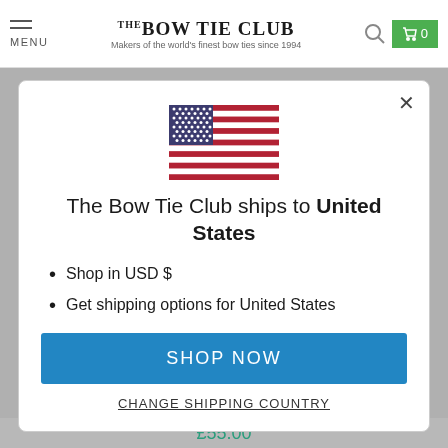MENU | THE BOW TIE CLUB Makers of the world's finest bow ties since 1994
[Figure (illustration): US flag emoji/icon centered in modal]
The Bow Tie Club ships to United States
Shop in USD $
Get shipping options for United States
SHOP NOW
CHANGE SHIPPING COUNTRY
£55.00